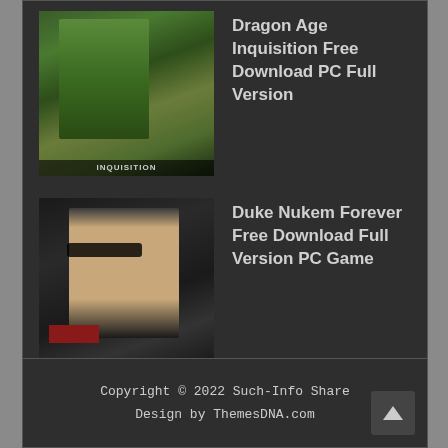Dragon Age Inquisition Free Download PC Full Version
Duke Nukem Forever Free Download Full Version PC Game
Enslaved Odyssey to the West Free Download Full PC Game
Copyright © 2022 Such-Info Share
Design by ThemesDNA.com